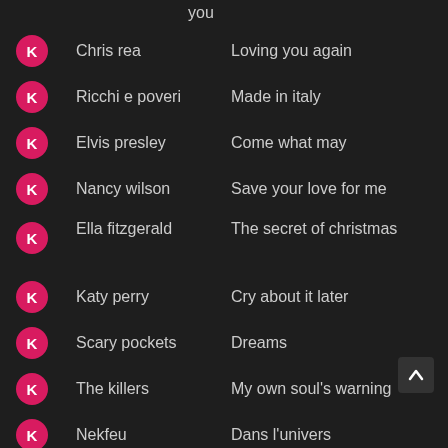you
Chris rea — Loving you again
Ricchi e poveri — Made in italy
Elvis presley — Come what may
Nancy wilson — Save your love for me
Ella fitzgerald — The secret of christmas
Katy perry — Cry about it later
Scary pockets — Dreams
The killers — My own soul's warning
Nekfeu — Dans l'univers
Banjo... — (partial)